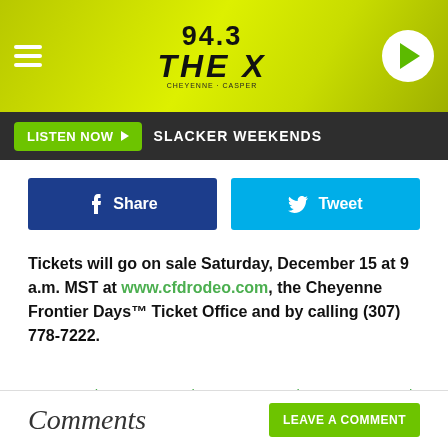[Figure (screenshot): 94.3 The X radio station header banner with yellow-green background, hamburger menu, logo, and play button]
LISTEN NOW ▶  SLACKER WEEKENDS
[Figure (screenshot): Facebook Share and Twitter Tweet social share buttons]
Tickets will go on sale Saturday, December 15 at 9 a.m. MST at www.cfdrodeo.com, the Cheyenne Frontier Days™ Ticket Office and by calling (307) 778-7222.
Source: Cheyenne Frontier Days 2019 Lineup Announced!
Filed Under: Cheyenne, Cheyenne Frontier Days
Categories: Articles
Comments
LEAVE A COMMENT